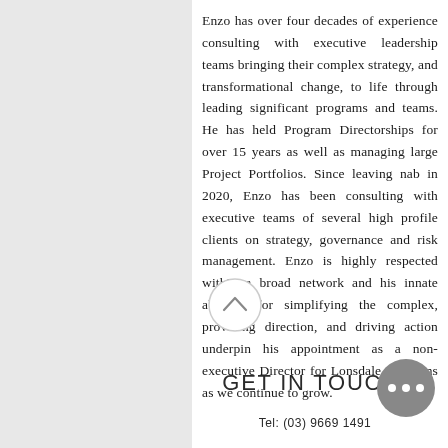Enzo has over four decades of experience consulting with executive leadership teams bringing their complex strategy, and transformational change, to life through leading significant programs and teams. He has held Program Directorships for over 15 years as well as managing large Project Portfolios. Since leaving nab in 2020, Enzo has been consulting with executive teams of several high profile clients on strategy, governance and risk management. Enzo is highly respected within a broad network and his innate abilities for simplifying the complex, providing direction, and driving action underpin his appointment as a non-executive Director for Lonsdale Solutions as we continue to grow.
GET IN TOUCH:
Tel: (03) 9669 1491